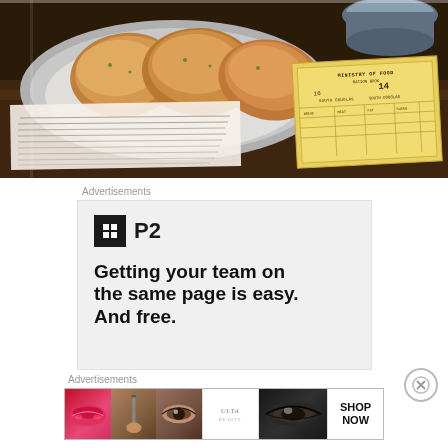[Figure (photo): Photograph of scones/biscuits on a plate with a doily, alongside a vintage yellow ration card and an open book/document page, on a dark wooden table background.]
Advertisements
[Figure (screenshot): Advertisement for P2 app showing the P2 logo (black square with white H-like icon) and the text 'Getting your team on the same page is easy. And free.']
Advertisements
[Figure (photo): Ulta Beauty advertisement banner showing makeup/cosmetics imagery (lips, brush, eyes, Ulta logo) with 'SHOP NOW' call to action.]